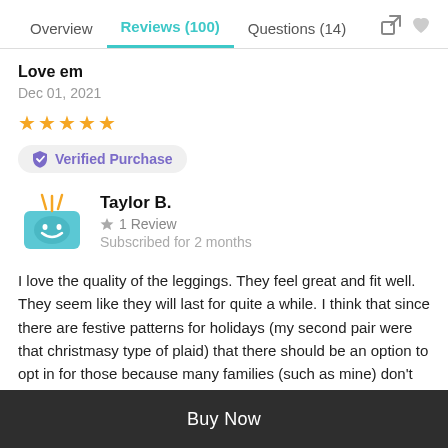Overview  Reviews (100)  Questions (14)
Love em
Dec 01, 2021
★★★★★
Verified Purchase
Taylor B.
★ 1 Review
Subscribed for 2 months
I love the quality of the leggings. They feel great and fit well. They seem like they will last for quite a while. I think that since there are festive patterns for holidays (my second pair were that christmasy type of plaid) that there should be an option to opt in for those because many families (such as mine) don't observe
Buy Now